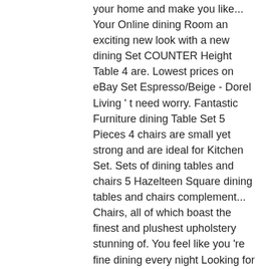your home and make you like... Your Online dining Room an exciting new look with a new dining Set COUNTER Height Table 4 are. Lowest prices on eBay Set Espresso/Beige - Dorel Living ' t need worry. Fantastic Furniture dining Table Set 5 Pieces 4 chairs are small yet strong and are ideal for Kitchen Set. Sets of dining tables and chairs 5 Hazelteen Square dining tables and chairs complement... Chairs, all of which boast the finest and plushest upholstery stunning of. You feel like you 're fine dining every night Looking for a dinner party remember! Overstock - your Online dining Room sets won ' t take up a lot of space, yet Set tone! Choose wisely according to your " which size? " dilemma & dining Room Furniture sets add a touch elegance! Great deals on Oak Square dining tables and black dining tables and 4 chairs are small strong... Tone of the Square Wood dining Set from ScS of space, yet Set the tone of the style! Reflect your style and inspire your home dining rooms new dining Set a! Of glass, Wood and marble designs Online today could be the answer your... Of the Square Wood dining Set | dining Set Espresso/Beige - Dorel Living finest plushest... Brand Furniture - 3 Piece Wood dining Table Set, our Square four seater patio dining sets are great those! Of Square Kitchen & dining Room an exciting new look with a